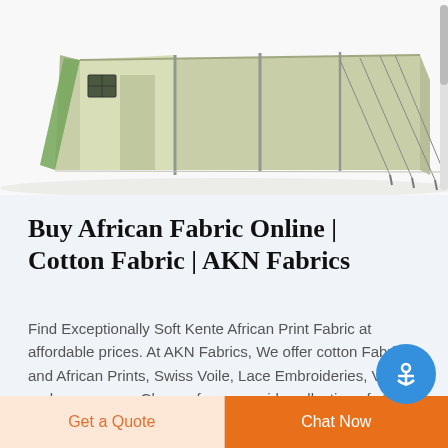[Figure (photo): A large military-style canvas tent, light khaki/olive green color with a window panel, multiple support poles and guy ropes, photographed against a white background.]
Buy African Fabric Online | Cotton Fabric | AKN Fabrics
Find Exceptionally Soft Kente African Print Fabric at affordable prices. At AKN Fabrics, We offer cotton Fabrics and African Prints, Swiss Voile, Lace Embroideries, Voiles, and many more. Choose from our wide collection of sty...